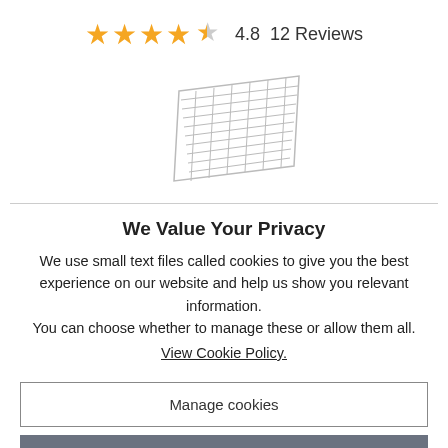[Figure (infographic): 5 orange stars (4 full, 1 half) rating display showing 4.8 and 12 Reviews]
[Figure (illustration): Product illustration of a wire cooling rack/grid tray, shown at an angle]
We Value Your Privacy
We use small text files called cookies to give you the best experience on our website and help us show you relevant information.
You can choose whether to manage these or allow them all.
View Cookie Policy.
Manage cookies
Allow All